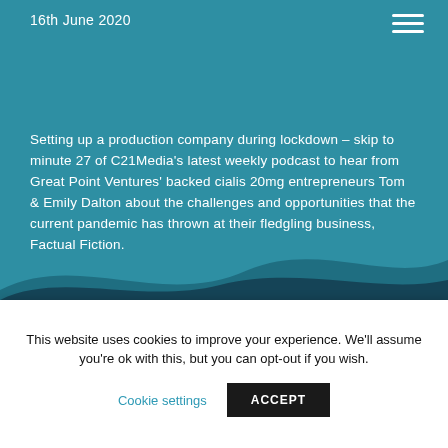16th June 2020
Setting up a production company during lockdown – skip to minute 27 of C21Media's latest weekly podcast to hear from Great Point Ventures' backed cialis 20mg entrepreneurs Tom & Emily Dalton about the challenges and opportunities that the current pandemic has thrown at their fledgling business, Factual Fiction.
This website uses cookies to improve your experience. We'll assume you're ok with this, but you can opt-out if you wish.
Cookie settings
ACCEPT